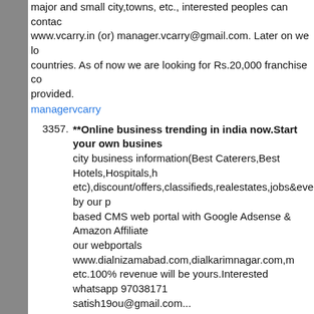major and small city,towns, etc., interested peoples can contact www.vcarry.in (or) manager.vcarry@gmail.com. Later on we lo countries. As of now we are looking for Rs.20,000 franchise co provided.
managervcarry
3357. **Online business trending in india now.Start your own busines city business information(Best Caterers,Best Hotels,Hospitals,h etc),discount/offers,classifieds,realestates,jobs&events by our p based CMS web portal with Google Adsense & Amazon Affiliate our webportals www.dialnizamabad.com,dialkarimnagar.com,m etc.100% revenue will be yours.Interested whatsapp 97038171 satish19ou@gmail.com... satishmedipally
3356. Im giving open offer to all business people or manufacturing pe agreement. iam demanding 10 L to my urgent debts closed. als no problem to ur funding. after that i will make earn millions rec whats app me i will explain 9704111881. Iam globally connecte member of whats app groups above 60 groups. any product i c domestic and internationally mohansai2014
3355. Own pharmamarketing company better high margin business l tamilnadu-product ideas-manufacturers contacts pls any plan g Com contact number-9791285987 Lion
3354. *****Online business trending in india now.Start your own busir city business information(Best Caterers,Best Hotels,Hospitals,h etc),discount/offers,classifieds,realestates,jobs&events by our p based CMS web portal with Google Adsense & Amazon Affiliate our webportals www.dialnizamabad.com,dialkarimnagar.com